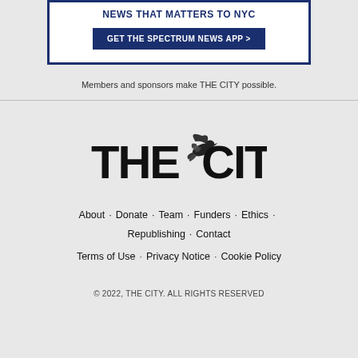[Figure (other): Advertisement banner for Spectrum News app with dark navy border, headline 'NEWS THAT MATTERS TO NYC' and a button 'GET THE SPECTRUM NEWS APP >']
Members and sponsors make THE CITY possible.
[Figure (logo): THE CITY logo with a bird (dove) illustration between the words 'THE' and 'CITY' in bold black text]
About · Donate · Team · Funders · Ethics · Republishing · Contact
Terms of Use · Privacy Notice · Cookie Policy
© 2022, THE CITY. ALL RIGHTS RESERVED